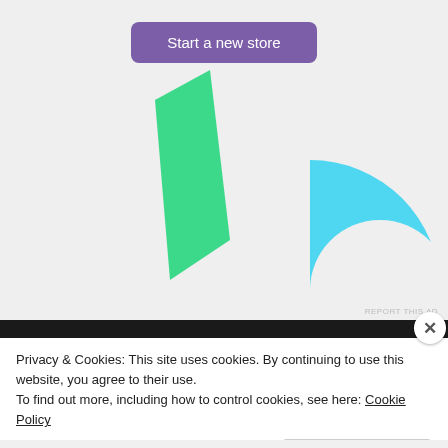[Figure (illustration): Advertisement area showing a purple 'Start a new store' button at top, with a light gray background containing abstract green and cyan/blue shapes forming a partial logo or decorative graphic. A small 'REPORT THIS AD' link appears at the bottom right.]
Privacy & Cookies: This site uses cookies. By continuing to use this website, you agree to their use.
To find out more, including how to control cookies, see here: Cookie Policy
Close and accept